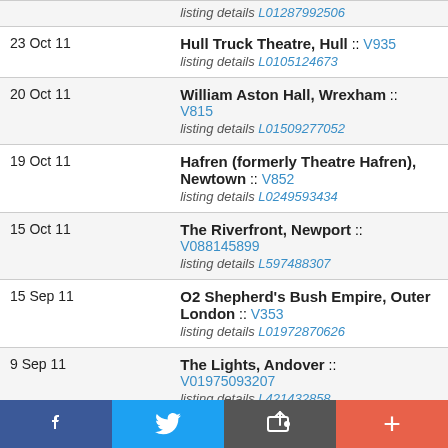| Date | Venue |
| --- | --- |
|  | listing details L01287992506 |
| 23 Oct 11 | Hull Truck Theatre, Hull :: V935
listing details L0105124673 |
| 20 Oct 11 | William Aston Hall, Wrexham :: V815
listing details L01509277052 |
| 19 Oct 11 | Hafren (formerly Theatre Hafren), Newtown :: V852
listing details L0249593434 |
| 15 Oct 11 | The Riverfront, Newport :: V088145899
listing details L597488307 |
| 15 Sep 11 | O2 Shepherd's Bush Empire, Outer London :: V353
listing details L01972870626 |
| 9 Sep 11 | The Lights, Andover :: V01975093207
listing details L421432858 |
| 24 May 11 | Watford Palace Theatre, Watford |
[Figure (other): Social sharing toolbar with Facebook, Twitter, share (envelope/arrow), and plus buttons]